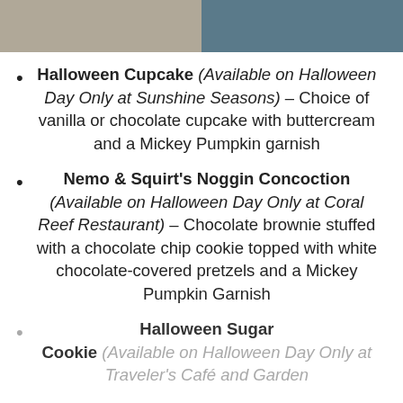[Figure (photo): Two photos side by side at the top of the page: left shows a Halloween-themed food item on a sandy/gravelly surface, right shows a blue skull or character decoration on a dark background.]
Halloween Cupcake (Available on Halloween Day Only at Sunshine Seasons) – Choice of vanilla or chocolate cupcake with buttercream and a Mickey Pumpkin garnish
Nemo & Squirt's Noggin Concoction (Available on Halloween Day Only at Coral Reef Restaurant) – Chocolate brownie stuffed with a chocolate chip cookie topped with white chocolate-covered pretzels and a Mickey Pumpkin Garnish
Halloween Sugar Cookie (Available on Halloween Day Only at Traveler's Café and Garden